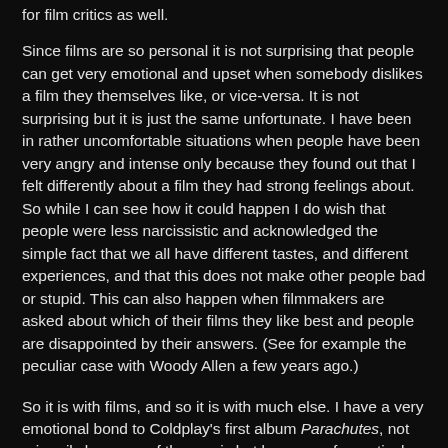for film critics as well.
Since films are so personal it is not surprising that people can get very emotional and upset when somebody dislikes a film they themselves like, or vice-versa. It is not surprising but it is just the same unfortunate. I have been in rather uncomfortable situations when people have been very angry and intense only because they found out that I felt differently about a film they had strong feelings about. So while I can see how it could happen I do wish that people were less narcissistic and acknowledged the simple fact that we all have different tastes, and different experiences, and that this does not make other people bad or stupid. This can also happen when filmmakers are asked about which of their films they like best and people are disappointed by their answers. (See for example the peculiar case with Woody Allen a few years ago.)
So it is with films, and so it is with much else. I have a very emotional bond to Coldplay's first album Parachutes, not primarily because of the music but because of a particular girl and a particular place which is connected with that album. That is just me. Not you. And we all have such